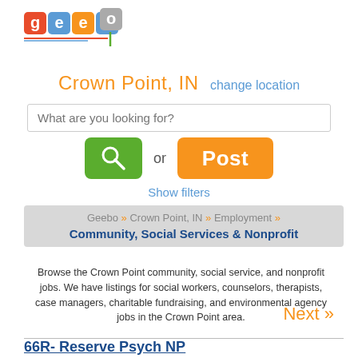[Figure (logo): Geebo logo with colorful letter tiles spelling 'geebo']
Crown Point, IN  change location
What are you looking for?
Show filters
Geebo » Crown Point, IN » Employment » Community, Social Services & Nonprofit
Browse the Crown Point community, social service, and nonprofit jobs. We have listings for social workers, counselors, therapists, case managers, charitable fundraising, and environmental agency jobs in the Crown Point area.
Next »
66R- Reserve Psych NP
Crown Point, IN
Community, Social Services & Nonprofit  United States Army
t  NEW!
THE ARMY HEALTH CARE ADVANTAGEAs a member of the